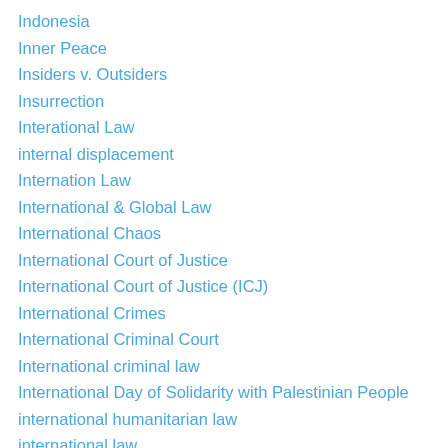Indonesia
Inner Peace
Insiders v. Outsiders
Insurrection
Interational Law
internal displacement
Internation Law
International & Global Law
International Chaos
International Court of Justice
International Court of Justice (ICJ)
International Crimes
International Criminal Court
International criminal law
International Day of Solidarity with Palestinian People
international humanitarian law
international law
international law
international lawyers
International Liberal Order